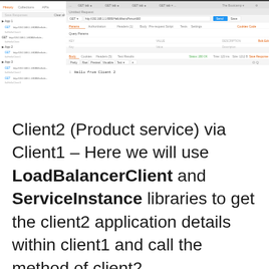[Figure (screenshot): Screenshot of Postman API client showing a GET request to a load balancer endpoint with response body showing 'Hello from Client 2', alongside a sidebar with service instances listed.]
Client2 (Product service) via Client1 – Here we will use LoadBalancerClient and ServiceInstance libraries to get the client2 application details within client1 and call the method of client2.